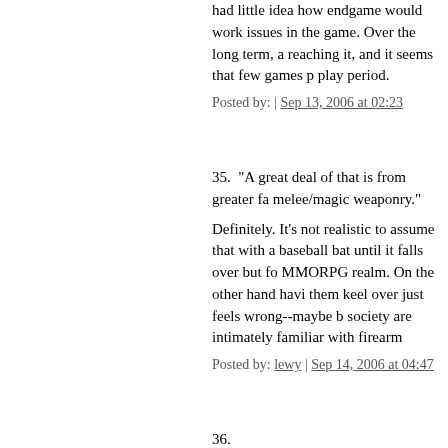had little idea how endgame would work issues in the game. Over the long term, a reaching it, and it seems that few games p play period.
Posted by: | Sep 13, 2006 at 02:23
35. "A great deal of that is from greater fa melee/magic weaponry."
Definitely. It's not realistic to assume that with a baseball bat until it falls over but fo MMORPG realm. On the other hand havi them keel over just feels wrong--maybe b society are intimately familiar with firearm
Posted by: lewy | Sep 14, 2006 at 04:47
36. In the real world, filled with technolo breathing space where 'the mystica from science, we're searching for s
I agree with this, but I also think that the c comes from the opposite angle as well.
Fantasy is about a past that both was ano - a dangerous world of incredible potentia carve and reign in. We all know what thin